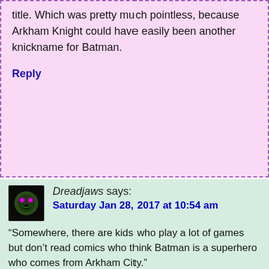title. Which was pretty much pointless, because Arkham Knight could have easily been another knickname for Batman.
Reply
Dreadjaws says: Saturday Jan 28, 2017 at 10:54 am
“Somewhere, there are kids who play a lot of games but don’t read comics who think Batman is a superhero who comes from Arkham City.”
Man, if there’s someone with low opinion on people here, it’s you. Gotham City is just as high in the pop culture list as Batman himself. Plus, the game explains very well that Arkham City is merely part of Gotham. Only a complete idiot would think Arkham City is the place where Batman comes from.